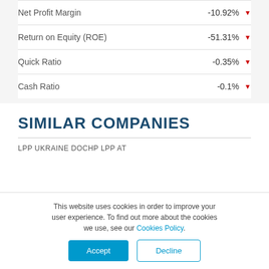| Metric | Value |
| --- | --- |
| Net Profit Margin | -10.92% ▼ |
| Return on Equity (ROE) | -51.31% ▼ |
| Quick Ratio | -0.35% ▼ |
| Cash Ratio | -0.1% ▼ |
SIMILAR COMPANIES
LPP UKRAINE DOCHP LPP AT
This website uses cookies in order to improve your user experience. To find out more about the cookies we use, see our Cookies Policy.